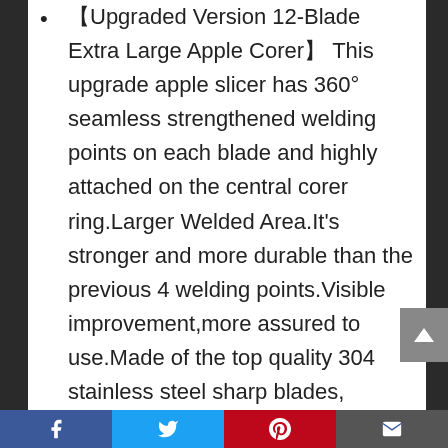【Upgraded Version 12-Blade Extra Large Apple Corer】This upgrade apple slicer has 360° seamless strengthened welding points on each blade and highly attached on the central corer ring.Larger Welded Area.It's stronger and more durable than the previous 4 welding points.Visible improvement,more assured to use.Made of the top quality 304 stainless steel sharp blades, bringing you the sharpest fruit cutting experience.
【Easy to clean】Just use warm water
[Figure (other): Social share bar with Facebook, Twitter, Pinterest, and email buttons at the bottom of the page]